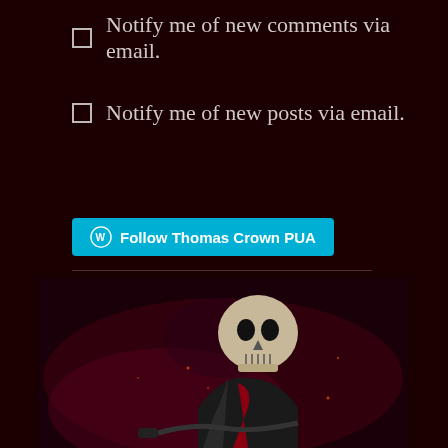Notify me of new comments via email.
Notify me of new posts via email.
[Figure (other): WordPress Follow button: Follow Thomas Crown PUA]
[Figure (other): Twitter Follow button: Follow @CrownDaygame]
[Figure (photo): Dark atmospheric photo of a skeleton figure wearing a leather jacket, with smoke and red/dark background effects]